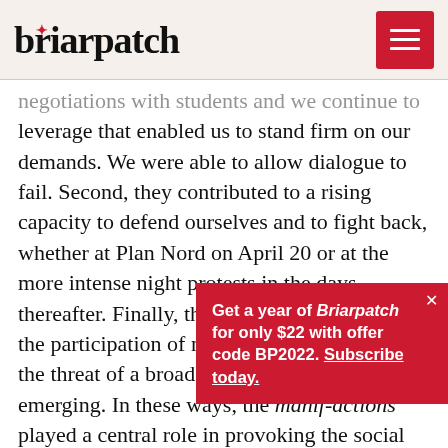briarpatch
negotiations with students and we continue to leverage that enabled us to stand firm on our demands. We were able to allow dialogue to fail. Second, they contributed to a rising capacity to defend ourselves and to fight back, whether at Plan Nord on April 20 or at the more intense night protests in the days thereafter. Finally, the manif-actions attracted the participation of non-students, which posed the threat of a broader social movement emerging. In these ways, the manif-actions played a central role in provoking the social crisis – that is, th antagonisms and Liberal governm Law.
Get a year of Briarpatch for only $22 with offer code BP2022. Subscribe today.